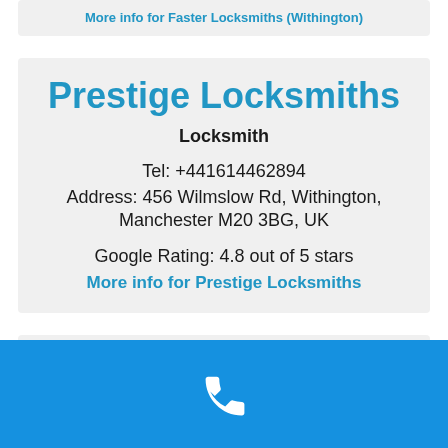More info for Faster Locksmiths (Withington)
Prestige Locksmiths
Locksmith
Tel: +441614462894
Address: 456 Wilmslow Rd, Withington, Manchester M20 3BG, UK
Google Rating: 4.8 out of 5 stars
More info for Prestige Locksmiths
[Figure (illustration): Blue call/phone button bar at the bottom of the screen with a white phone handset icon in the center]